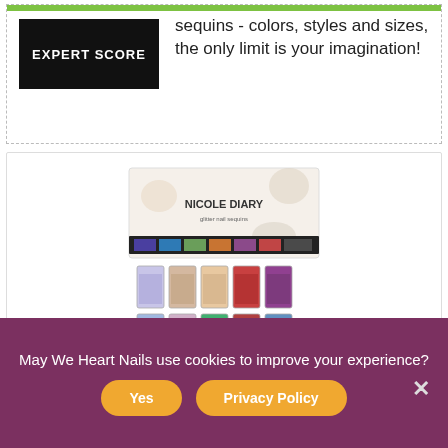sequins - colors, styles and sizes, the only limit is your imagination!
[Figure (photo): Nicole Diary 8 Boxes glitter nail sequins product photo showing box packaging and individual glitter containers in multiple colors]
NICOLE DIARY 8 Boxes Chunky Glitter Nail Sequins Iridescent Flakes Ultra-thin Tips Colorful Mixed Paillette Festival Glitter Cosmetic Face Hair...
May We Heart Nails use cookies to improve your experience?